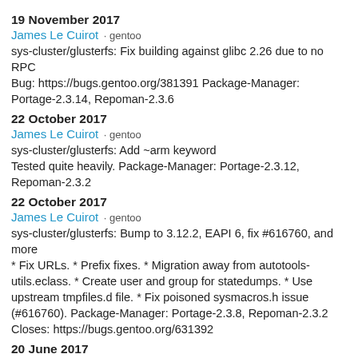19 November 2017
James Le Cuirot · gentoo
sys-cluster/glusterfs: Fix building against glibc 2.26 due to no RPC
Bug: https://bugs.gentoo.org/381391 Package-Manager: Portage-2.3.14, Repoman-2.3.6
22 October 2017
James Le Cuirot · gentoo
sys-cluster/glusterfs: Add ~arm keyword
Tested quite heavily. Package-Manager: Portage-2.3.12, Repoman-2.3.2
22 October 2017
James Le Cuirot · gentoo
sys-cluster/glusterfs: Bump to 3.12.2, EAPI 6, fix #616760, and more
* Fix URLs. * Prefix fixes. * Migration away from autotools-utils.eclass. * Create user and group for statedumps. * Use upstream tmpfiles.d file. * Fix poisoned sysmacros.h issue (#616760). Package-Manager: Portage-2.3.8, Repoman-2.3.2
Closes: https://bugs.gentoo.org/631392
20 June 2017
Alexis Ballier · gentoo